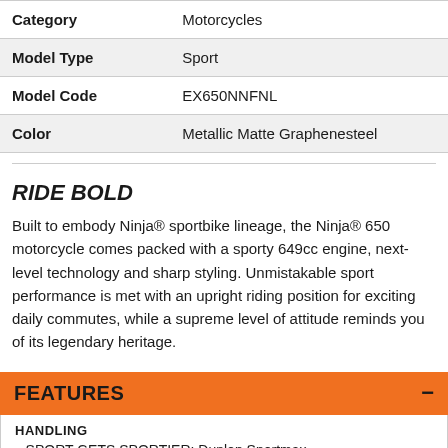| Category | Motorcycles |
| --- | --- |
| Model Type | Sport |
| Model Code | EX650NNFNL |
| Color | Metallic Matte Graphenesteel |
RIDE BOLD
Built to embody Ninja® sportbike lineage, the Ninja® 650 motorcycle comes packed with a sporty 649cc engine, next-level technology and sharp styling. Unmistakable sport performance is met with an upright riding position for exciting daily commutes, while a supreme level of attitude reminds you of its legendary heritage.
FEATURES
HANDLING
SPORT GETS SPORTIER: Dunlop Sportmax